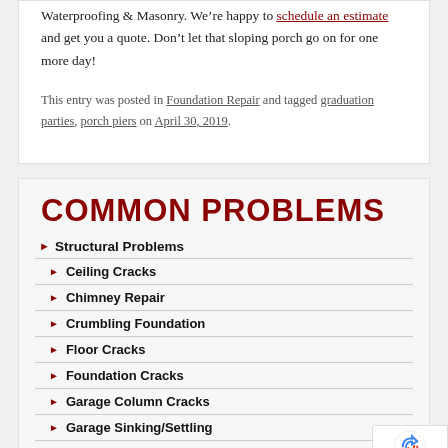Waterproofing & Masonry. We're happy to schedule an estimate and get you a quote. Don't let that sloping porch go on for one more day!
This entry was posted in Foundation Repair and tagged graduation parties, porch piers on April 30, 2019.
COMMON PROBLEMS
Structural Problems
Ceiling Cracks
Chimney Repair
Crumbling Foundation
Floor Cracks
Foundation Cracks
Garage Column Cracks
Garage Sinking/Settling
Leaning/Bowing Walls